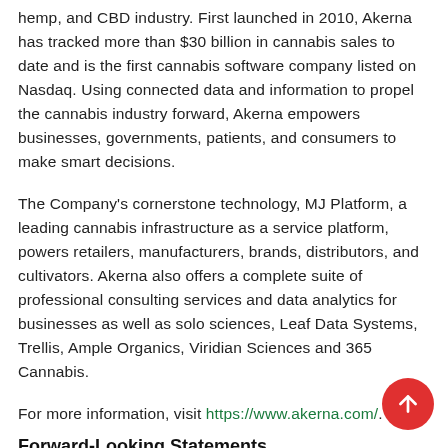hemp, and CBD industry. First launched in 2010, Akerna has tracked more than $30 billion in cannabis sales to date and is the first cannabis software company listed on Nasdaq. Using connected data and information to propel the cannabis industry forward, Akerna empowers businesses, governments, patients, and consumers to make smart decisions.
The Company's cornerstone technology, MJ Platform, a leading cannabis infrastructure as a service platform, powers retailers, manufacturers, brands, distributors, and cultivators. Akerna also offers a complete suite of professional consulting services and data analytics for businesses as well as solo sciences, Leaf Data Systems, Trellis, Ample Organics, Viridian Sciences and 365 Cannabis.
For more information, visit https://www.akerna.com/.
Forward-Looking Statements
Certain statements made in this release and any